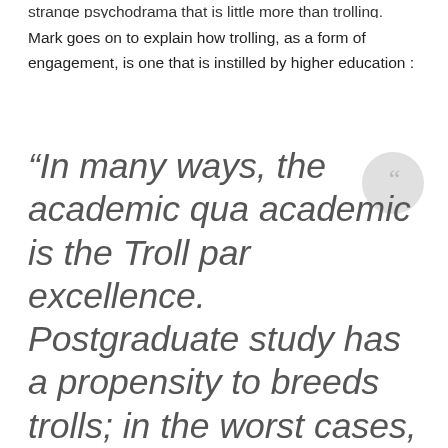strange psychodrama that is little more than trolling.
Mark goes on to explain how trolling, as a form of engagement, is one that is instilled by higher education :
“In many ways, the academic qua academic is the Troll par excellence. Postgraduate study has a propensity to breeds trolls; in the worst cases, the mode of nitpicking critique (and